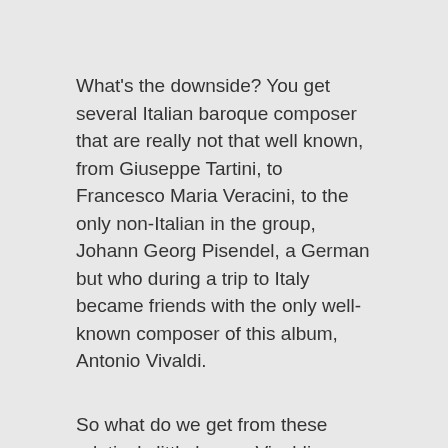What's the downside? You get several Italian baroque composer that are really not that well known, from Giuseppe Tartini, to Francesco Maria Veracini, to the only non-Italian in the group, Johann Georg Pisendel, a German but who during a trip to Italy became friends with the only well-known composer of this album, Antonio Vivaldi.
So what do we get from these relatively little known Vivaldi contemporaries? Well, musically, this is not a must have. Already Vivaldi is not my favorite cup of tea among the baroque composers, and his contemporaries are usually even less